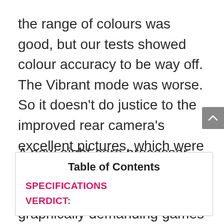the range of colours was good, but our tests showed colour accuracy to be way off. The Vibrant mode was worse. So it doesn't do justice to the improved rear camera's excellent pictures, which were otherwise marred only by slight over-exposure and lack of optical stabilization.
A new eight-core processor runs Android 7.1 Nougat very smoothly, though more graphically demanding games can struggle. The skinnier battery
| Table of Contents |
| SPECIFICATIONS |
| VERDICT: |